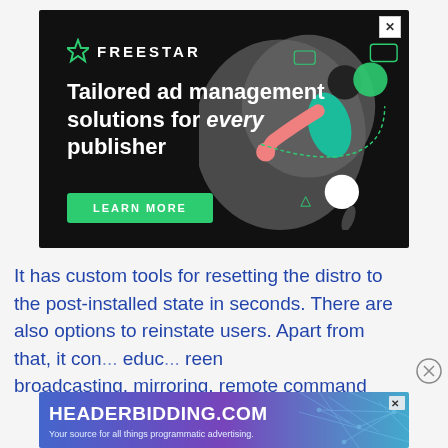[Figure (illustration): Freestar advertisement banner with dark background. Shows Freestar logo at top left, large bold white text 'Tailored ad management solutions for every publisher', a green 'LEARN MORE' button, and an illustrated figure of a person with technology icons on a dark/grey blob shape background.]
It has custom tools for resetting the distro to the post-installed state in seconds. There are also options to reinstate users. Apart from that, it con... educ... reen broadcasting, mirroring, remote command
[Figure (illustration): HeaderBidding.com advertisement banner with gradient blue/purple background. Shows 'HEADERBIDDING.COM' in large bold white text and tagline 'Your source for all things programmatic advertising.' with a network mesh graphic on the right.]